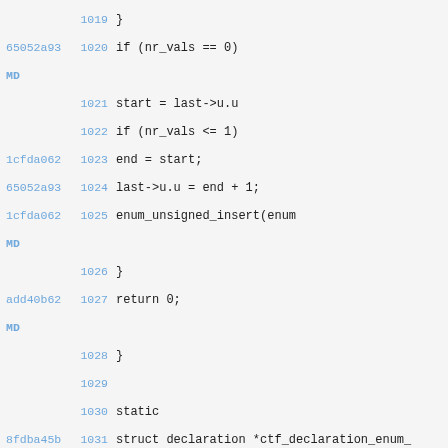Code viewer showing lines 1019-1033 of a C source file with git blame annotations
1019         }
65052a93 1020     if (nr_vals == 0)
MD
1021                 start = last->u.u
1022             if (nr_vals <= 1)
1cfda062 1023                 end = start;
65052a93 1024             last->u.u = end + 1;
1cfda062 1025             enum_unsigned_insert(enum
MD
1026         }
add40b62 1027         return 0;
MD
1028 }
1029
1030 static
8fdba45b 1031 struct declaration *ctf_declaration_enum_
add40b62 1032                             const char *name,
78af2bcd 1033                             struct ctf_node *